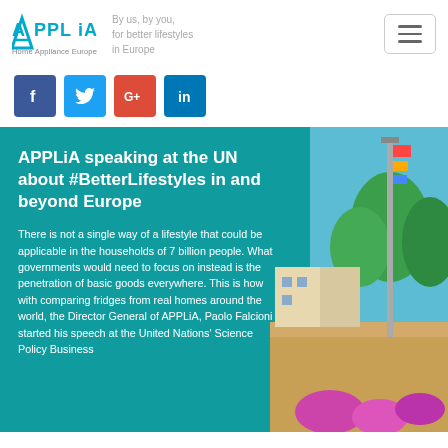APPLiA Home Appliance Europe — By us, by you, for better lifestyles in Europe
[Figure (logo): APPLiA Home Appliance Europe logo with tagline: By us, by you, for better lifestyles in Europe]
[Figure (infographic): Social media share icons: Facebook (blue), Twitter (light blue), Google+ (red), LinkedIn (dark blue)]
[Figure (photo): Banner image showing a teal overlay on the left with article title and text, and a photo of a street scene with a tall pole and flowers on the right]
APPLiA speaking at the UN about #BetterLifestyles in and beyond Europe
There is not a single way of a lifestyle that could be applicable in the households of 7 billion people. What governments would need to focus on instead is the penetration of basic goods everywhere. This is how with comparing fridges from real homes around the world, the Director General of APPLiA, Paolo Falcioni started his speech at the United Nations' Science Policy Business...